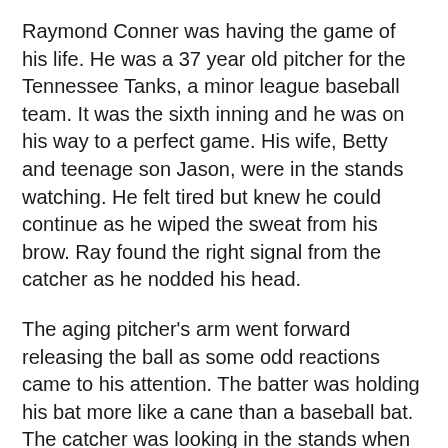Raymond Conner was having the game of his life. He was a 37 year old pitcher for the Tennessee Tanks, a minor league baseball team. It was the sixth inning and he was on his way to a perfect game. His wife, Betty and teenage son Jason, were in the stands watching. He felt tired but knew he could continue as he wiped the sweat from his brow. Ray found the right signal from the catcher as he nodded his head.
The aging pitcher's arm went forward releasing the ball as some odd reactions came to his attention. The batter was holding his bat more like a cane than a baseball bat. The catcher was looking in the stands when the ball hit him right between the eyes. Even though the mask protected him, the force knocked him to the ground. Ray looked into the stands not believing what his eyes were seeing.
At first, there was a hush over the crowd, then panic started to set in. The entrances at the top of the stadium were filled with people pouring out of them. Not moving quickly though. They were walking slowly.
The closer Ray looked, the more he noticed they were dead. People were trying to escape, but all the exits were blocked.